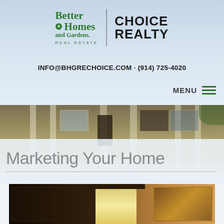[Figure (logo): Better Homes and Gardens Real Estate | CHOICE REALTY logo]
INFO@BHGRECHOICE.COM · (914) 725-4020
MENU
[Figure (photo): Exterior photo of a white house with columns and porch in background]
Marketing Your Home
[Figure (photo): Interior kitchen photo with dark wood cabinets and pendant lights]